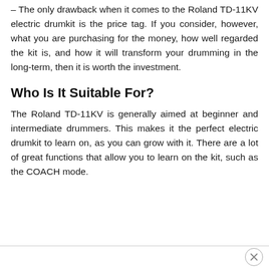The only drawback when it comes to the Roland TD-11KV electric drumkit is the price tag. If you consider, however, what you are purchasing for the money, how well regarded the kit is, and how it will transform your drumming in the long-term, then it is worth the investment.
Who Is It Suitable For?
The Roland TD-11KV is generally aimed at beginner and intermediate drummers. This makes it the perfect electric drumkit to learn on, as you can grow with it. There are a lot of great functions that allow you to learn on the kit, such as the COACH mode.